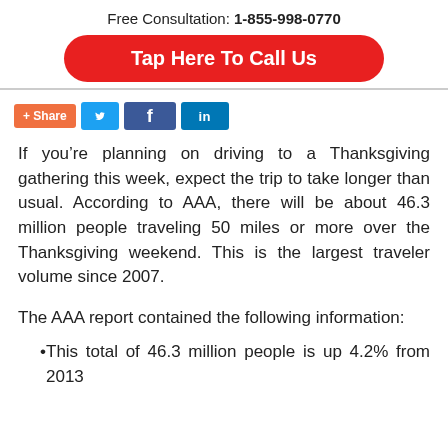Free Consultation: 1-855-998-0770
Tap Here To Call Us
[Figure (other): Social share buttons: +Share, Twitter, Facebook, LinkedIn]
If you’re planning on driving to a Thanksgiving gathering this week, expect the trip to take longer than usual. According to AAA, there will be about 46.3 million people traveling 50 miles or more over the Thanksgiving weekend. This is the largest traveler volume since 2007.
The AAA report contained the following information:
This total of 46.3 million people is up 4.2% from 2013